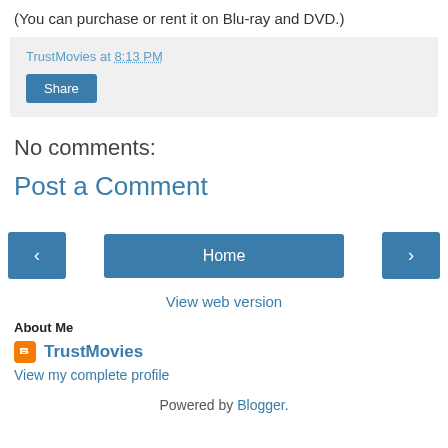(You can purchase or rent it on Blu-ray and DVD.)
TrustMovies at 8:13 PM
Share
No comments:
Post a Comment
Home
View web version
About Me
TrustMovies
View my complete profile
Powered by Blogger.